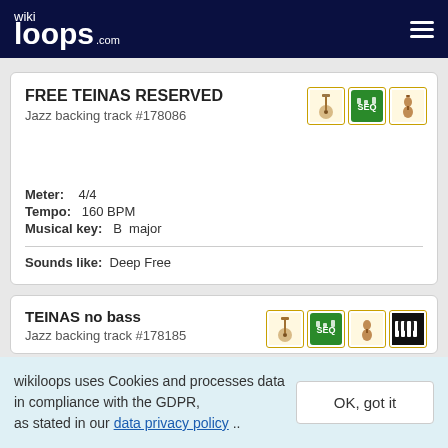wikiloops.com
FREE TEINAS RESERVED
Jazz backing track #178086
Meter: 4/4
Tempo: 160 BPM
Musical key: B major
Sounds like: Deep Free
TEINAS no bass
Jazz backing track #178185
wikiloops uses Cookies and processes data in compliance with the GDPR, as stated in our data privacy policy ..